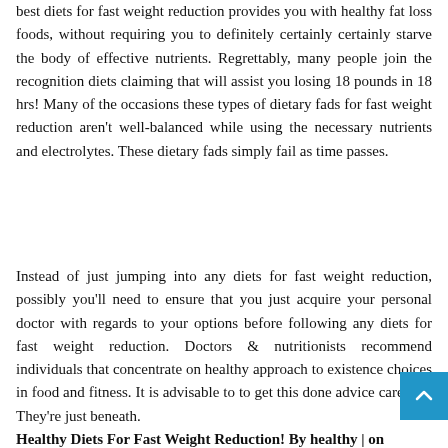best diets for fast weight reduction provides you with healthy fat loss foods, without requiring you to definitely certainly certainly starve the body of effective nutrients. Regrettably, many people join the recognition diets claiming that will assist you losing 18 pounds in 18 hrs! Many of the occasions these types of dietary fads for fast weight reduction aren't well-balanced while using the necessary nutrients and electrolytes. These dietary fads simply fail as time passes.
Instead of just jumping into any diets for fast weight reduction, possibly you'll need to ensure that you just acquire your personal doctor with regards to your options before following any diets for fast weight reduction. Doctors & nutritionists recommend individuals that concentrate on healthy approach to existence choices in food and fitness. It is advisable to to get this done advice carefully They're just beneath.
Healthy Diets For Fast Weight Reduction! By healthy | on